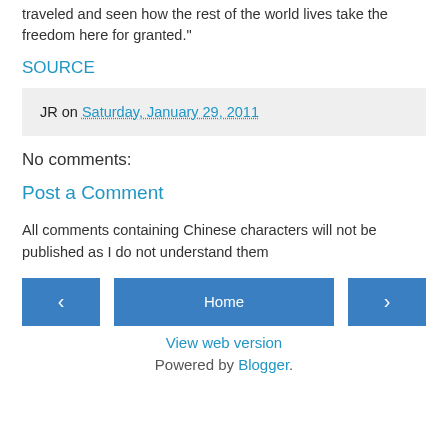traveled and seen how the rest of the world lives take the freedom here for granted."
SOURCE
JR on Saturday, January 29, 2011
No comments:
Post a Comment
All comments containing Chinese characters will not be published as I do not understand them
‹  Home  ›
View web version
Powered by Blogger.